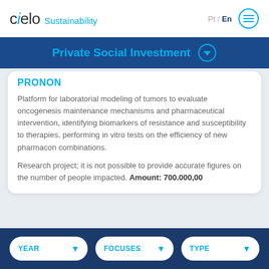cielo Sustainability  Pt / En
Private Social Investment
PRONON
Platform for laboratorial modeling of tumors to evaluate oncogenesis maintenance mechanisms and pharmaceutical intervention, identifying biomarkers of resistance and susceptibility to therapies, performing in vitro tests on the efficiency of new pharmacon combinations.
Research project; it is not possible to provide accurate figures on the number of people impacted. Amount: 700.000,00
YEAR  FOCUSES  TYPE